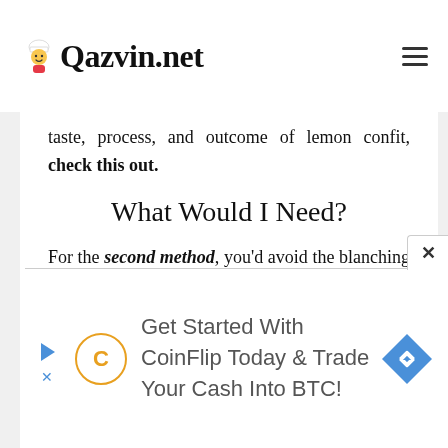Qazvin.net
taste, process, and outcome of lemon confit, check this out.
What Would I Need?
For the second method, you'd avoid the blanching (boiling and quickly cooling in water) process. This would make it to where you would achieve optimal results after a two-week, refrigerated wait.
Other than that and your preparation, you
[Figure (other): Advertisement banner: Get Started With CoinFlip Today & Trade Your Cash Into BTC! with CoinFlip logo and navigation icon]